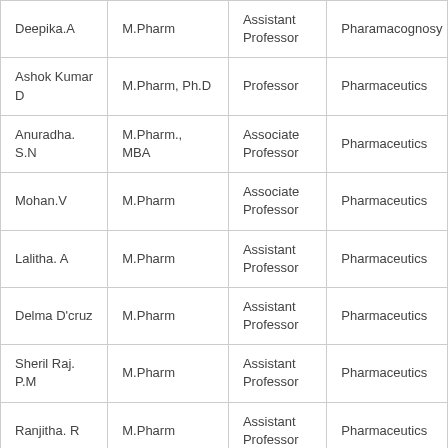| Deepika.A | M.Pharm | Assistant Professor | Pharamacognosy |
| Ashok Kumar D | M.Pharm, Ph.D | Professor | Pharmaceutics |
| Anuradha. S.N | M.Pharm., MBA | Associate Professor | Pharmaceutics |
| Mohan.V | M.Pharm | Associate Professor | Pharmaceutics |
| Lalitha. A | M.Pharm | Assistant Professor | Pharmaceutics |
| Delma D'cruz | M.Pharm | Assistant Professor | Pharmaceutics |
| Sheril Raj. P.M | M.Pharm | Assistant Professor | Pharmaceutics |
| Ranjitha. R | M.Pharm | Assistant Professor | Pharmaceutics |
| Nithya.S | M.Pharm | Assistant Professor | Pharmaceutics |
|  |  |  |  |